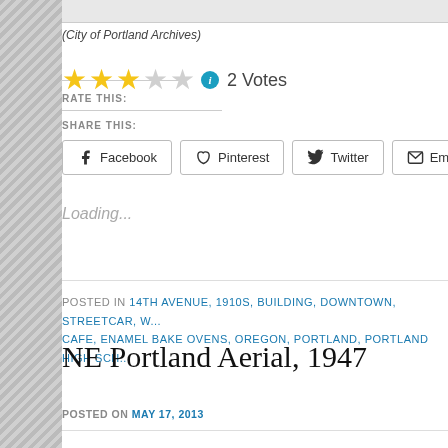(City of Portland Archives)
RATE THIS: ★★★☆☆ ℹ 2 Votes
SHARE THIS:
Facebook  Pinterest  Twitter  Email  Reddit
Loading...
POSTED IN 14TH AVENUE, 1910S, BUILDING, DOWNTOWN, STREETCAR, W... CAFE, ENAMEL BAKE OVENS, OREGON, PORTLAND, PORTLAND HIGH SCH...
NE Portland Aerial, 1947
POSTED ON MAY 17, 2013